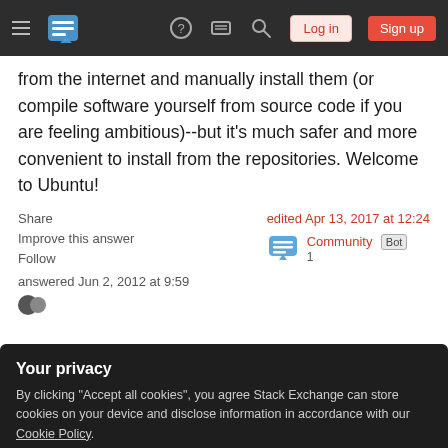Stack Exchange navigation bar with hamburger menu, logo, help, inbox, search icons, Log in and Sign up buttons
from the internet and manually install them (or compile software yourself from source code if you are feeling ambitious)--but it's much safer and more convenient to install from the repositories. Welcome to Ubuntu!
Share   Improve this answer   Follow   edited Apr 13, 2017 at 12:24   Community Bot 1
answered Jun 2, 2012 at 9:59
Your privacy
By clicking "Accept all cookies", you agree Stack Exchange can store cookies on your device and disclose information in accordance with our Cookie Policy.
Accept all cookies   Customize settings
used as of ... 13.04? In any case if you're on 14.10 and